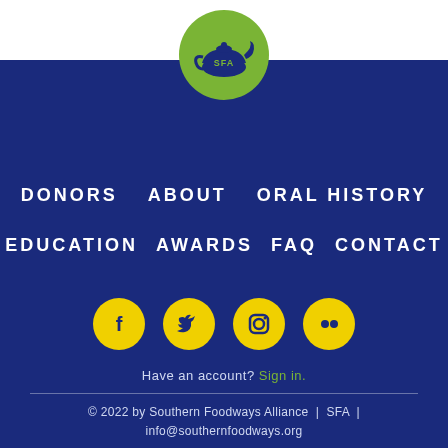[Figure (logo): SFA Southern Foodways Alliance logo: green circle with dark blue gravy boat icon and SFA text]
DONORS   ABOUT   ORAL HISTORY
EDUCATION   AWARDS   FAQ   CONTACT
[Figure (illustration): Social media icons: Facebook, Twitter, Instagram, Flickr — yellow circles with dark icons]
Have an account? Sign in.
© 2022 by Southern Foodways Alliance  |  SFA  |  info@southernfoodways.org